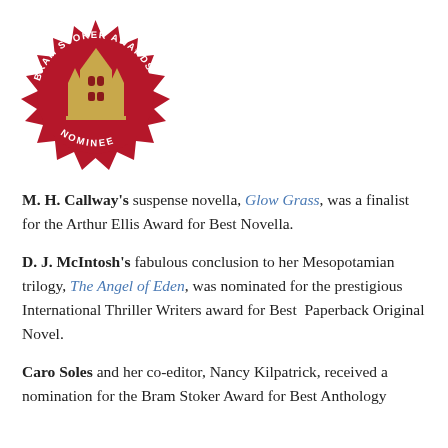[Figure (logo): Bram Stoker Awards Nominee seal — circular red starburst badge with gold gothic tower/cathedral illustration in center, white text reading 'BRAM STOKER AWARDS' around top arc and 'NOMINEE' along bottom arc]
M. H. Callway's suspense novella, Glow Grass, was a finalist for the Arthur Ellis Award for Best Novella.
D. J. McIntosh's fabulous conclusion to her Mesopotamian trilogy, The Angel of Eden, was nominated for the prestigious International Thriller Writers award for Best Paperback Original Novel.
Caro Soles and her co-editor, Nancy Kilpatrick, received a nomination for the Bram Stoker Award for Best Anthology